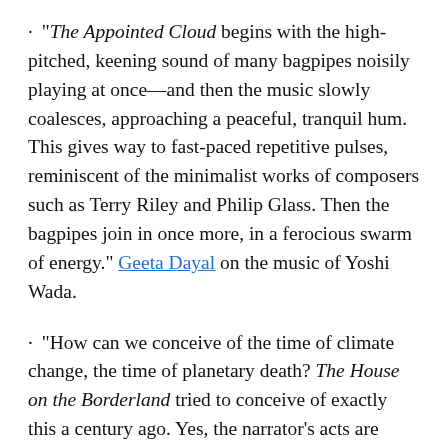"The Appointed Cloud begins with the high-pitched, keening sound of many bagpipes noisily playing at once—and then the music slowly coalesces, approaching a peaceful, tranquil hum. This gives way to fast-paced repetitive pulses, reminiscent of the minimalist works of composers such as Terry Riley and Philip Glass. Then the bagpipes join in once more, in a ferocious swarm of energy." Geeta Dayal on the music of Yoshi Wada.
"How can we conceive of the time of climate change, the time of planetary death? The House on the Borderland tried to conceive of exactly this a century ago. Yes, the narrator's acts are fruitless. He gets haplessly carted about the